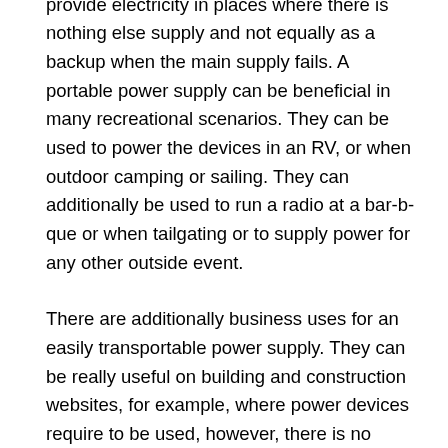Mobile electric generators can be utilized to provide electricity in places where there is nothing else supply and not equally as a backup when the main supply fails. A portable power supply can be beneficial in many recreational scenarios. They can be used to power the devices in an RV, or when outdoor camping or sailing. They can additionally be used to run a radio at a bar-b-que or when tailgating or to supply power for any other outside event.
There are additionally business uses for an easily transportable power supply. They can be really useful on building and construction websites, for example, where power devices require to be used, however, there is no connection to the primary power supply.
Portable electric generators are reputable, easy to use, and require little upkeep. They can be found in a variety of various designs that can give different quantities of power, so